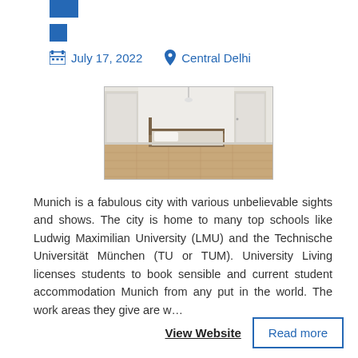[Figure (other): Two blue rectangular icon blocks stacked at top left]
July 17, 2022   Central Delhi
[Figure (photo): Photo of a bedroom with white walls, white doors, wooden floor, and a bed frame]
Munich is a fabulous city with various unbelievable sights and shows. The city is home to many top schools like Ludwig Maximilian University (LMU) and the Technische Universität München (TU or TUM). University Living licenses students to book sensible and current student accommodation Munich from any put in the world. The work areas they give are w...
View Website
Read more